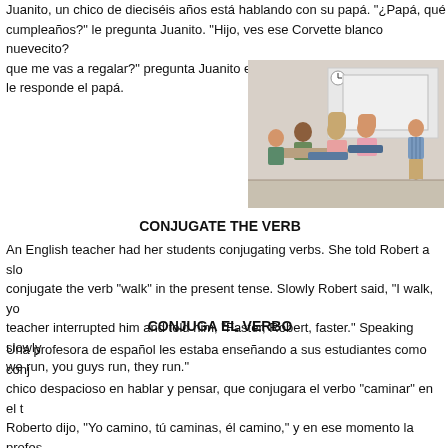Juanito, un chico de dieciséis años está hablando con su papá.  "¿Papá, qué me vas a regalar de cumpleaños?" le pregunta Juanito.  "Hijo, ves ese Corvette blanco nuevecito? que me vas a regalar?" pregunta Juanito emocionadamente.  "No, pero te co... le responde el papá.
[Figure (photo): Classroom scene with students sitting at desks and a student presenting at the front near a whiteboard]
CONJUGATE THE VERB
An English teacher had her students conjugating verbs.  She told Robert a slo... conjugate the verb "walk" in the present tense.  Slowly Robert said, "I walk, yo... teacher interrupted him and told him, "Faster, Robert, faster."  Speaking slowly... we run, you guys run, they run."
CONJUGA EL VERBO
Una profesora de español les estaba enseñando a sus estudiantes como conj... chico despacioso en hablar y pensar, que conjugara el verbo "caminar" en el t... Roberto dijo, "Yo camino, tú caminas, él camino," y en ese momento la profes... rápido, Roberto, más rápido." Entonces Roberto hablando despaciosamente d...